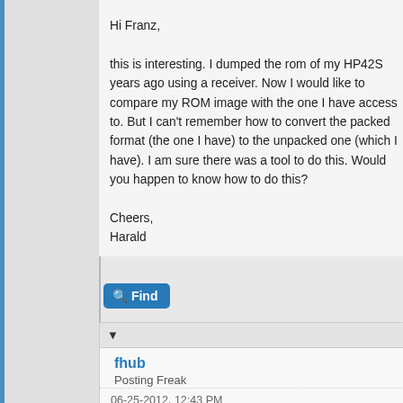Hi Franz,

this is interesting. I dumped the rom of my HP42S years ago using a receiver. Now I would like to compare my ROM image with the one I have access to. But I can't remember how to convert the packed format (the one I have) to the unpacked one (which I have). I am sure there was a tool to do this. Would you happen to know how to do this?

Cheers,
Harald
Find
▼
fhub
Posting Freak
06-25-2012, 12:43 PM
Well Harald, although I've never had such an 'dumped' ROM (I only have real 42s), but I guess this could be done with CAPC2BIN.EXE.